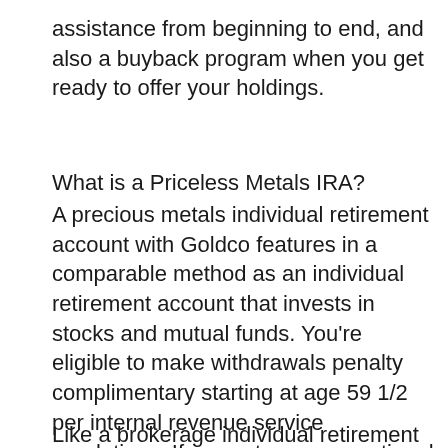assistance from beginning to end, and also a buyback program when you get ready to offer your holdings.
What is a Priceless Metals IRA?
A precious metals individual retirement account with Goldco features in a comparable method as an individual retirement account that invests in stocks and mutual funds. You're eligible to make withdrawals penalty complimentary starting at age 59 1/2 per internal revenue service regulations. If you setup a conventional individual retirement account, you'll require to start making withdrawals by the age of 72.
Like a brokerage individual retirement